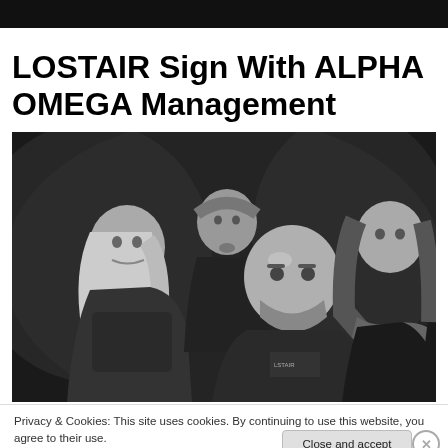[Figure (photo): Black and white photo of four metal band members (Lostair) posing against a dark background. Front center: bald man with beard and tattoos. Left: man with long blonde hair. Back center: man with short hair and goatee. Right: tall man with long dark hair.]
LOSTAIR Sign With ALPHA OMEGA Management
Privacy & Cookies: This site uses cookies. By continuing to use this website, you agree to their use.
To find out more, including how to control cookies, see here: Cookie Policy
Close and accept